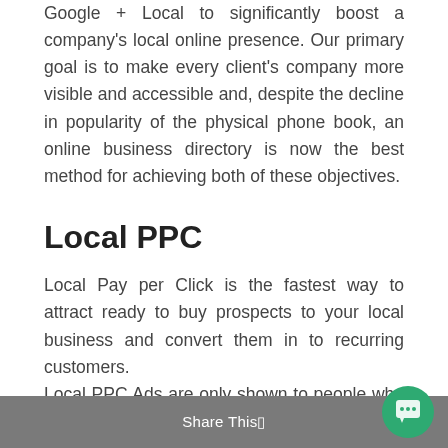Google + Local to significantly boost a company's local online presence. Our primary goal is to make every client's company more visible and accessible and, despite the decline in popularity of the physical phone book, an online business directory is now the best method for achieving both of these objectives.
Local PPC
Local Pay per Click is the fastest way to attract ready to buy prospects to your local business and convert them in to recurring customers. Local PPC Ads are only shown to people who are searching within a very Limited Geographic Area, mostly within 50 miles radios of your shop or office. You only get high targeted traffic to your website, from people who are ready to buy right now. It's damn effective, less expensive & gives positive results.
Share This